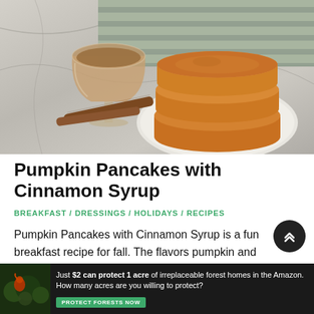[Figure (photo): Stack of golden pumpkin pancakes on a white plate, with a glass goblet of cinnamon syrup and two cinnamon sticks on a marble surface with a striped cloth in the background.]
Pumpkin Pancakes with Cinnamon Syrup
BREAKFAST / DRESSINGS / HOLIDAYS / RECIPES
Pumpkin Pancakes with Cinnamon Syrup is a fun breakfast recipe for fall. The flavors pumpkin and cinnamon are always so great together! We are so
[Figure (infographic): Advertisement banner: 'Just $2 can protect 1 acre of irreplaceable forest homes in the Amazon. How many acres are you willing to protect?' with a green PROTECT FORESTS NOW button and a forest/wildlife background image.]